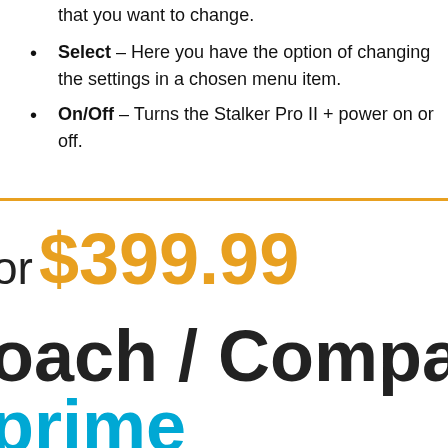that you want to change.
Select – Here you have the option of changing the settings in a chosen menu item.
On/Off – Turns the Stalker Pro II + power on or off.
or $399.99
oach / Compatible
prime